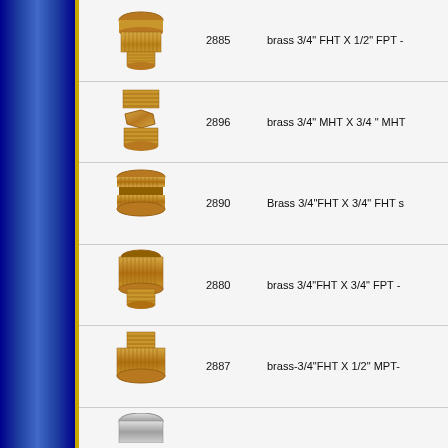[Figure (photo): Brass hose fitting - FHT X FPT adapter, knurled female end]
2885    brass 3/4" FHT X 1/2" FPT -
[Figure (photo): Brass hose fitting - MHT X MHT adapter]
2896    brass 3/4" MHT X 3/4 " MHT
[Figure (photo): Brass hose fitting - FHT X FHT double female coupling, knurled]
2890    Brass 3/4"FHT X 3/4" FHT s
[Figure (photo): Brass hose fitting - FHT X FPT adapter]
2880    brass 3/4"FHT X 3/4" FPT -
[Figure (photo): Brass hose fitting - FHT X MPT adapter, knurled female with male thread insert]
2887    brass-3/4"FHT X 1/2" MPT-
[Figure (photo): Chrome/metal hose fitting - partially visible at bottom]